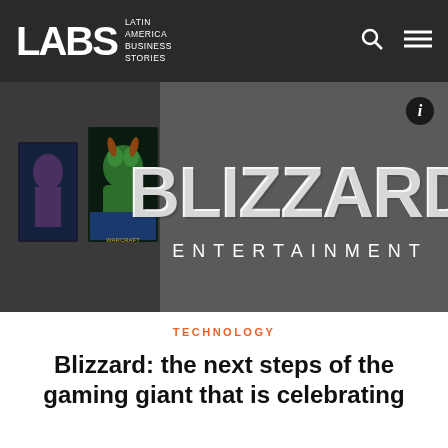LABS Latin America Business Stories
[Figure (photo): Blizzard Entertainment logo sign on a dark wall with game artwork panels visible on the left side]
TECHNOLOGY
Blizzard: the next steps of the gaming giant that is celebrating 12...